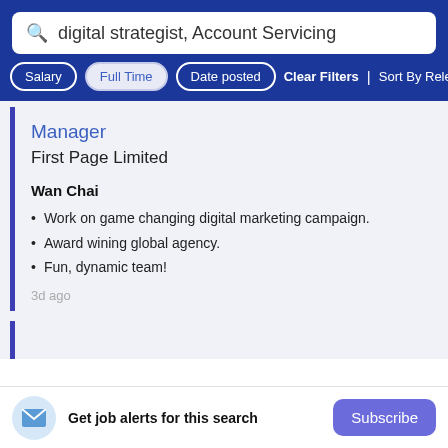digital strategist, Account Servicing
Salary | Full Time | Date posted | Clear Filters | Sort By Relevance
Manager
First Page Limited
Wan Chai
Work on game changing digital marketing campaign.
Award wining global agency.
Fun, dynamic team!
3d ago
Get job alerts for this search
Subscribe